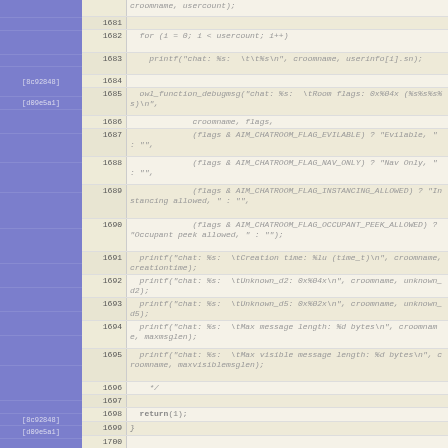[Figure (screenshot): Source code diff/annotation view showing C code lines 1681-1700, with line numbers, gutter annotations ([8c92848], [d09e5a1]), and code content including for loop, printf statements, owl_function_debugmsg, AIM_CHATROOM_FLAG macros, and return(1).]